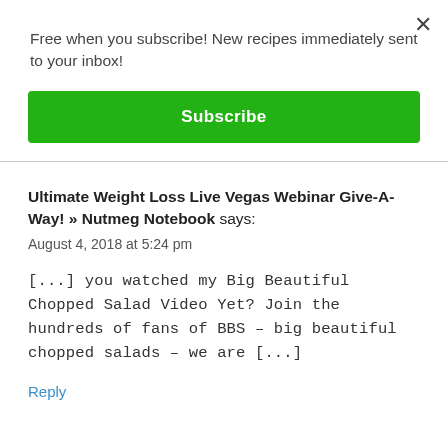Free when you subscribe! New recipes immediately sent to your inbox!
Subscribe
Ultimate Weight Loss Live Vegas Webinar Give-A-Way! » Nutmeg Notebook says:
August 4, 2018 at 5:24 pm
[...] you watched my Big Beautiful Chopped Salad Video Yet? Join the hundreds of fans of BBS – big beautiful chopped salads – we are [...]
Reply